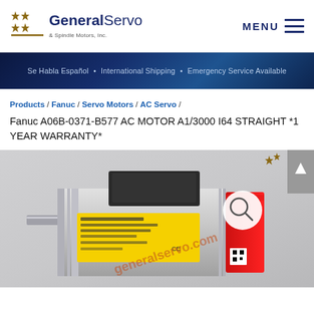[Figure (logo): GeneralServo & Spindle Motors, Inc. logo with stars]
MENU
Se Habla Español • International Shipping • Emergency Service Available
Products / Fanuc / Servo Motors / AC Servo / Fanuc A06B-0371-B577 AC MOTOR A1/3000 I64 STRAIGHT *1 YEAR WARRANTY*
[Figure (photo): Fanuc AC servo motor with yellow label and red end cap, photographed on grey background with generalservo.com watermark]